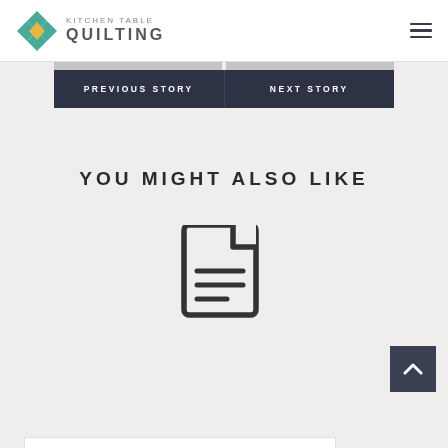KITCHEN TABLE QUILTING
PREVIOUS STORY
NEXT STORY
YOU MIGHT ALSO LIKE
[Figure (illustration): Document/article icon — a stylized page with folded top-right corner and three horizontal lines representing text]